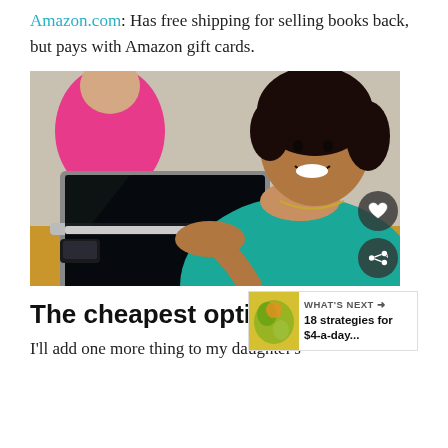Amazon.com: Has free shipping for selling books back, but pays with Amazon gift cards.
[Figure (photo): Young woman smiling while using a laptop computer, with another person in pink visible in the background]
The cheapest option of all:
I'll add one more thing to my daughter's